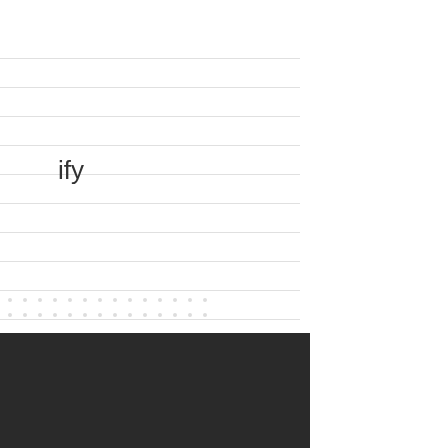ify
press
[Figure (screenshot): Slide-in popup modal with close button, tagline 'Good to see you here :)', bold headline 'Create a slide-in popup for your website like this one for free', browser preview showing a running guide popup with athlete image, and a purple 'CREATE YOUR POPUP' CTA button.]